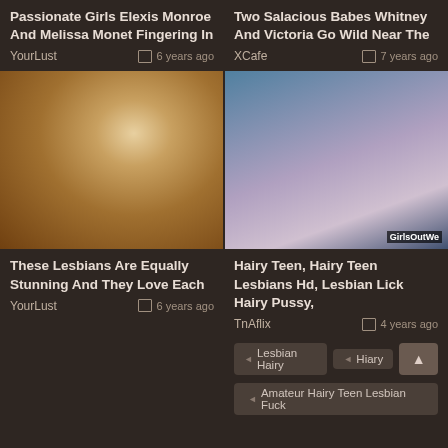Passionate Girls Elexis Monroe And Melissa Monet Fingering In
Two Salacious Babes Whitney And Victoria Go Wild Near The
YourLust   6 years ago
XCafe   7 years ago
[Figure (photo): Thumbnail of adult video, blonde women]
[Figure (photo): Thumbnail of adult video, two women in bed with pillows]
These Lesbians Are Equally Stunning And They Love Each
Hairy Teen, Hairy Teen Lesbians Hd, Lesbian Lick Hairy Pussy,
YourLust   6 years ago
TnAflix   4 years ago
Lesbian Hairy
Hiary
Amateur Hairy Teen Lesbian Fuck